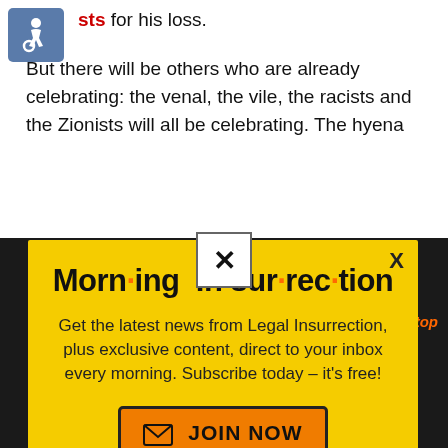sts for his loss.
But there will be others who are already celebrating: the venal, the vile, the racists and the Zionists will all be celebrating. The hyena
[Figure (screenshot): Accessibility icon - blue square with wheelchair symbol]
[Figure (screenshot): Morning Insurrection newsletter signup modal popup with yellow background. Title reads 'Morn·ing In·sur·rec·tion' with orange dots between syllables. Body text: 'Get the latest news from Legal Insurrection, plus exclusive content, direct to your inbox every morning. Subscribe today – it's free!' Orange JOIN NOW button with envelope icon. X close button top right. Small close button at bottom center.]
back to top
[Figure (photo): Dark photo of person in background area at bottom of page]